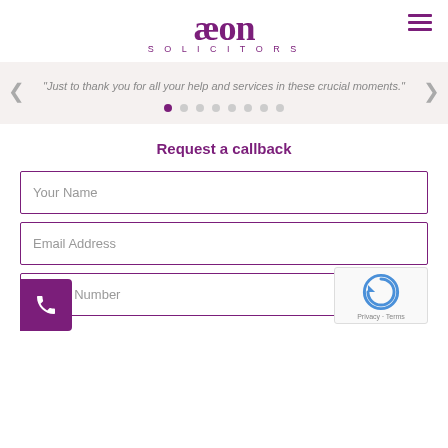æon SOLICITORS
"Just to thank you for all your help and services in these crucial moments."
Request a callback
Your Name
Email Address
Phone Number